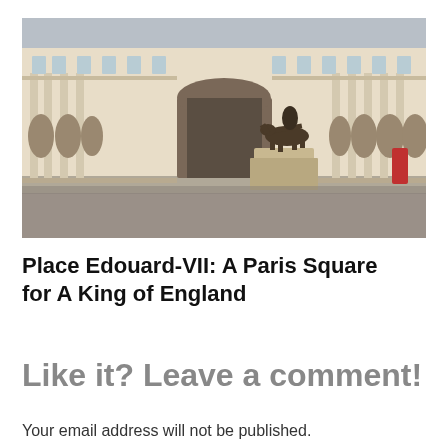[Figure (photo): Photograph of Place Edouard-VII, a circular Parisian square with classical French architecture featuring arched colonnades, large windows with ornate balustrades, and a bronze equestrian statue on a stone pedestal in the foreground. The courtyard is paved and open.]
Place Edouard-VII: A Paris Square for A King of England
Like it? Leave a comment!
Your email address will not be published.